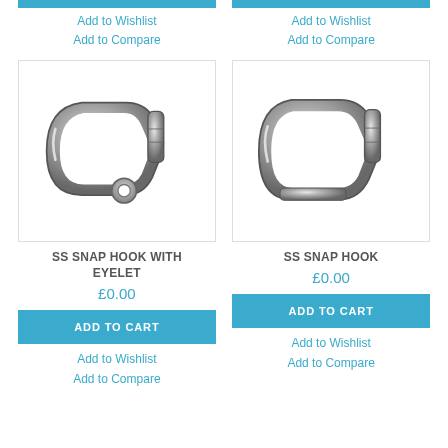Add to Wishlist
Add to Compare
Add to Wishlist
Add to Compare
[Figure (photo): Stainless steel snap hook with eyelet carabiner, polished metal finish]
SS SNAP HOOK WITH EYELET
£0.00
[Figure (photo): Stainless steel snap hook carabiner without eyelet, polished metal finish]
SS SNAP HOOK
£0.00
ADD TO CART
ADD TO CART
Add to Wishlist
Add to Compare
Add to Wishlist
Add to Compare